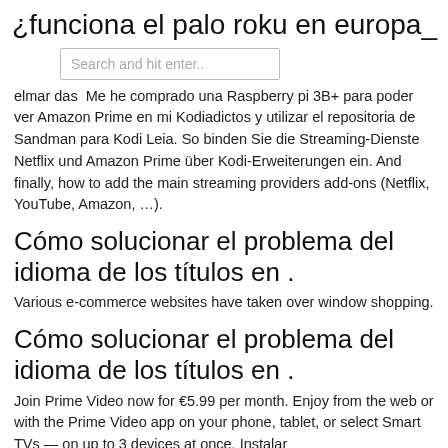¿funciona el palo roku en europa_
Search and hit enter..
elmar das  Me he comprado una Raspberry pi 3B+ para poder ver Amazon Prime en mi Kodiadictos y utilizar el repositoria de Sandman para Kodi Leia. So binden Sie die Streaming-Dienste Netflix und Amazon Prime über Kodi-Erweiterungen ein. And finally, how to add the main streaming providers add-ons (Netflix, YouTube, Amazon, …).
Cómo solucionar el problema del idioma de los títulos en .
Various e-commerce websites have taken over window shopping.
Cómo solucionar el problema del idioma de los títulos en .
Join Prime Video now for €5.99 per month. Enjoy from the web or with the Prime Video app on your phone, tablet, or select Smart TVs — on up to 3 devices at once. Instalar